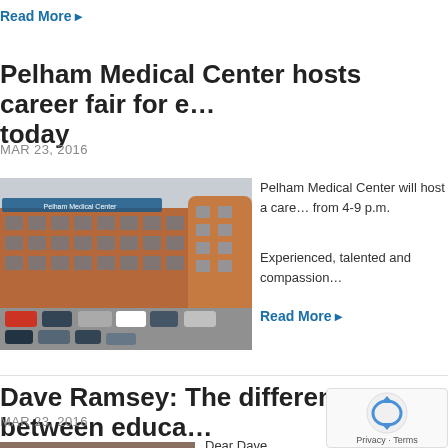Read More ▶
Pelham Medical Center hosts career fair for e… today
MAR 23, 2016
[Figure (photo): Exterior photo of Pelham Medical Center building, a multi-story brick building with parking lot in front]
Pelham Medical Center will host a care… from 4-9 p.m.
Experienced, talented and compassion…
Read More ▶
Dave Ramsey: The difference between educa…
MAR 23, 2016
[Figure (photo): Partial photo of a person, cropped at bottom of page]
Dear Dave,